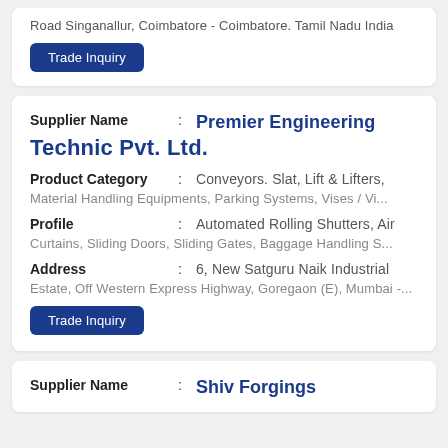Road Singanallur, Coimbatore - Coimbatore. Tamil Nadu India
Trade Inquiry
Supplier Name : Premier Engineering Technic Pvt. Ltd.
Product Category : Conveyors. Slat, Lift & Lifters, Material Handling Equipments, Parking Systems, Vises / Vi...
Profile : Automated Rolling Shutters, Air Curtains, Sliding Doors, Sliding Gates, Baggage Handling S...
Address : 6, New Satguru Naik Industrial Estate, Off Western Express Highway, Goregaon (E), Mumbai -...
Trade Inquiry
Supplier Name : Shiv Forgings